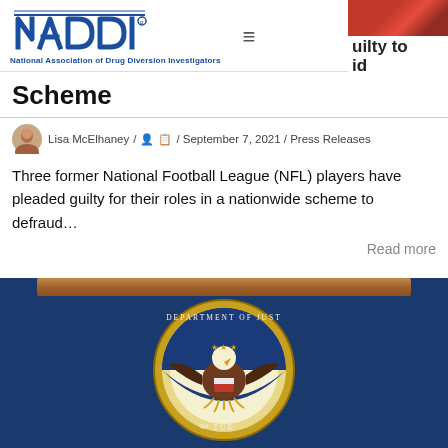[Figure (logo): NADDI logo — National Association of Drug Diversion Investigators with stylized text and blue color]
uilty to id
Scheme
Lisa McElhaney / 🧑 📋 / September 7, 2021 / Press Releases
Three former National Football League (NFL) players have pleaded guilty for their roles in a nationwide scheme to defraud…
Read more
[Figure (photo): Department of Justice seal on a blue podium background]